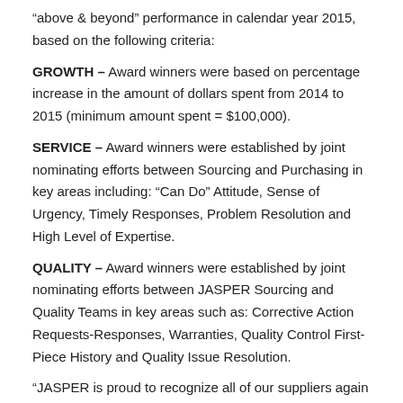“above & beyond” performance in calendar year 2015, based on the following criteria:
GROWTH – Award winners were based on percentage increase in the amount of dollars spent from 2014 to 2015 (minimum amount spent = $100,000).
SERVICE – Award winners were established by joint nominating efforts between Sourcing and Purchasing in key areas including: “Can Do” Attitude, Sense of Urgency, Timely Responses, Problem Resolution and High Level of Expertise.
QUALITY – Award winners were established by joint nominating efforts between JASPER Sourcing and Quality Teams in key areas such as: Corrective Action Requests-Responses, Warranties, Quality Control First-Piece History and Quality Issue Resolution.
“JASPER is proud to recognize all of our suppliers again this year,” said Jay Nelson, JASPER Supplier Development-Sourcing Manager. “We